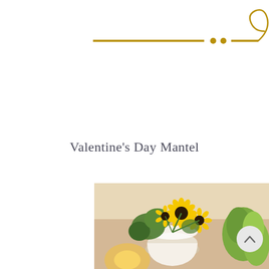[Figure (illustration): Decorative golden horizontal rule with two dots in the center and a curling flourish on the right side]
Valentine's Day Mantel
[Figure (photo): A floral arrangement featuring yellow sunflowers and green foliage in a white vase on a mantel, with warm golden lighting in the background]